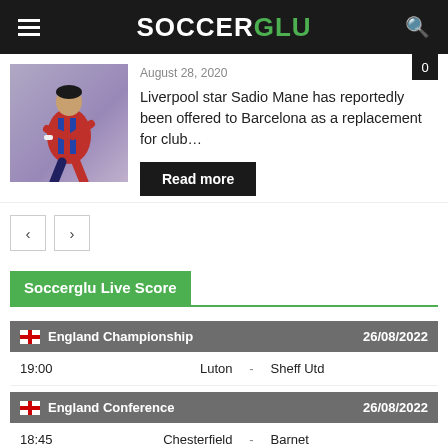SOCCERGLU
August 28, 2020
Liverpool star Sadio Mane has reportedly been offered to Barcelona as a replacement for club...
Read more
[Figure (photo): Soccer player in red and blue striped jersey (Barcelona kit) running]
Soccerglu Live Score
| Time | Home |  | Away | Date |
| --- | --- | --- | --- | --- |
| 19:00 | Luton | - | Sheff Utd |  |
| Time | Home |  | Away | Date |
| --- | --- | --- | --- | --- |
| 18:45 | Chesterfield | - | Barnet |  |